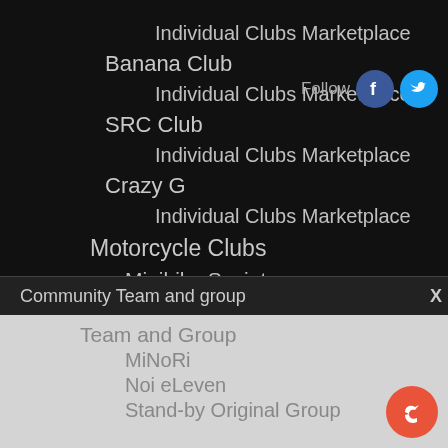Individual Clubs Marketplace
Banana Club
Individual Clubs Marketplace
SRC Club
Individual Clubs Marketplace
Crazy G
Individual Clubs Marketplace
Motorcycle Clubs
Minibike Society
Click Club
Mio Club
Follow
Community Team and group
X
Team and Group
MiNoRi
Noi eLeven
Stand-by Original Group